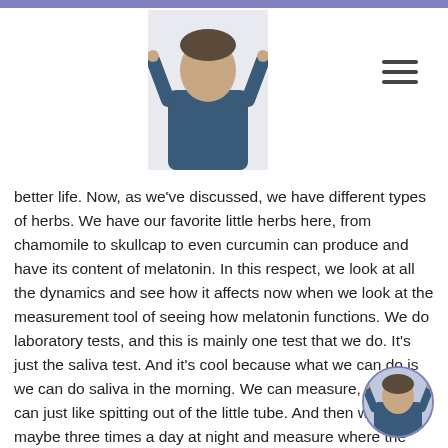[Figure (photo): Doctor in blue scrubs giving thumbs up, header image]
better life. Now, as we've discussed, we have different types of herbs. We have our favorite little herbs here, from chamomile to skullcap to even curcumin can produce and have its content of melatonin. In this respect, we look at all the dynamics and see how it affects now when we look at the measurement tool of seeing how melatonin functions. We do laboratory tests, and this is mainly one test that we do. It's just the saliva test. And it's cool because what we can do is we can do saliva in the morning. We can measure, and we can just like spitting out of the little tube. And then we just maybe three times a day at night and measure where the melatonin levels are. This is very interesting because what you get to see here is the usual pattern of it should be kind of
[Figure (photo): Small circular avatar of doctor in blue scrubs giving thumbs up]